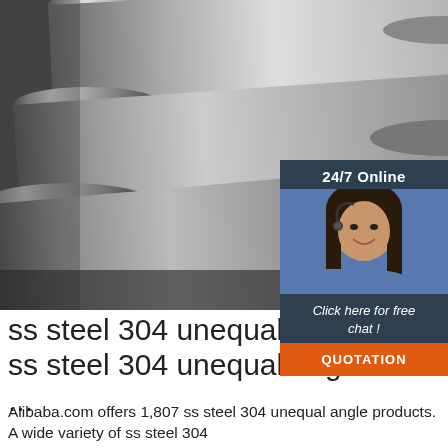[Figure (photo): Three stainless steel round bars/rods lying parallel, photographed from a slightly elevated angle showing their cylindrical cross-sections; background is a dark industrial floor.]
[Figure (infographic): 24/7 Online chat widget overlay on the image showing a female customer service representative wearing a headset, with text 'Click here for free chat!' and an orange QUOTATION button.]
ss steel 304 unequal angle, ss steel 304 unequal angle ...
Alibaba.com offers 1,807 ss steel 304 unequal angle products. A wide variety of ss steel 304